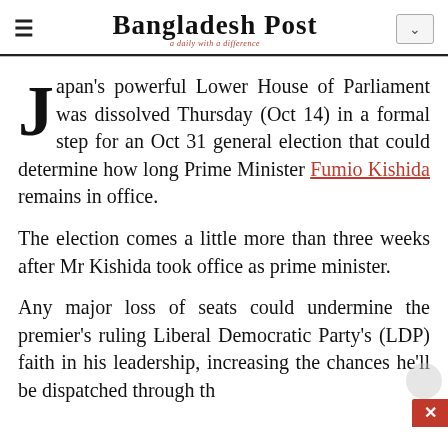Bangladesh Post — a daily with a difference
Japan's powerful Lower House of Parliament was dissolved Thursday (Oct 14) in a formal step for an Oct 31 general election that could determine how long Prime Minister Fumio Kishida remains in office.
The election comes a little more than three weeks after Mr Kishida took office as prime minister.
Any major loss of seats could undermine the premier's ruling Liberal Democratic Party's (LDP) faith in his leadership, increasing the chances he'll be dispatched through th